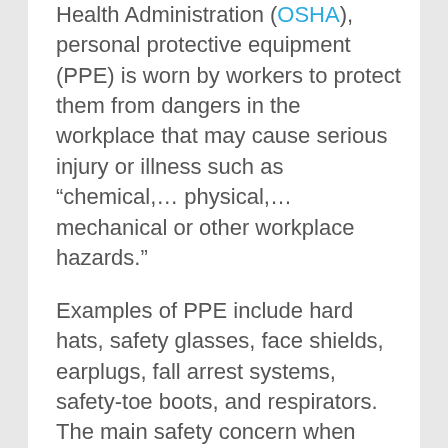Health Administration (OSHA), personal protective equipment (PPE) is worn by workers to protect them from dangers in the workplace that may cause serious injury or illness such as “chemical,… physical,… mechanical or other workplace hazards.”
Examples of PPE include hard hats, safety glasses, face shields, earplugs, fall arrest systems, safety-toe boots, and respirators. The main safety concern when working with pressure is the